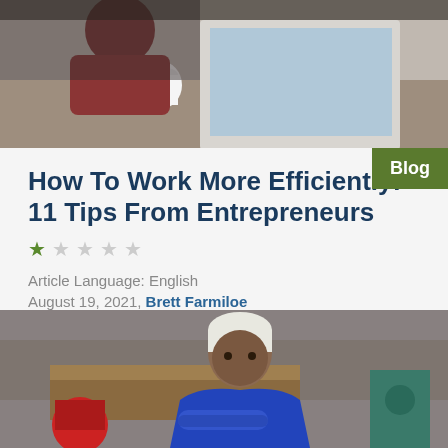[Figure (photo): Person in dark red top working on a laptop with a coffee cup, overhead view]
How To Work More Efficiently: 11 Tips From Entrepreneurs
Article Language: English
August 19, 2021, Brett Farmiloe
Wondering how to improve your business's efficiency? Take advice from these 11 entrepreneurs.
[Figure (photo): Middle-aged Black woman with short white hair wearing a blue jacket, arms crossed, standing in a workshop/garage setting]